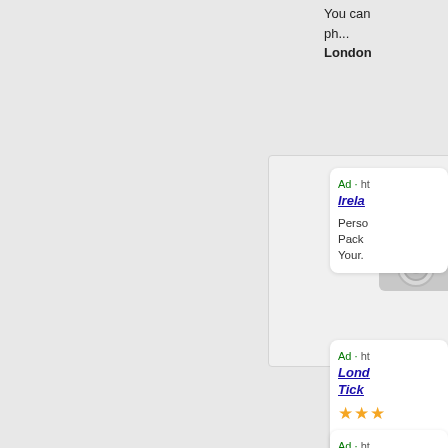You can ph...
London
[Figure (photo): Image placeholder with camera icon on light gray background]
Ad · ht
Irela...
Perso Pack Your.
Ad · ht
Lond Tick
★★★
Enjoy to Do
Ad · ht